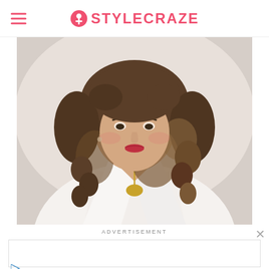STYLECRAZE
[Figure (photo): Portrait photo of a woman with curly brown hair, wearing a white blazer and gold pendant necklace, with red lipstick, looking at the camera]
ADVERTISEMENT
44175 Ashbrook Marketplace Plaza,